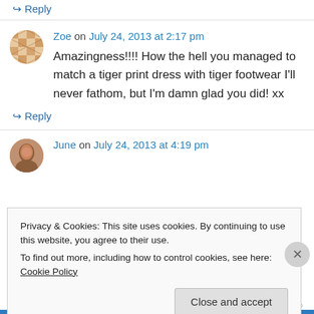↳ Reply
Zoe on July 24, 2013 at 2:17 pm
Amazingness!!!! How the hell you managed to match a tiger print dress with tiger footwear I'll never fathom, but I'm damn glad you did! xx
↳ Reply
June on July 24, 2013 at 4:19 pm
Privacy & Cookies: This site uses cookies. By continuing to use this website, you agree to their use.
To find out more, including how to control cookies, see here: Cookie Policy
Close and accept